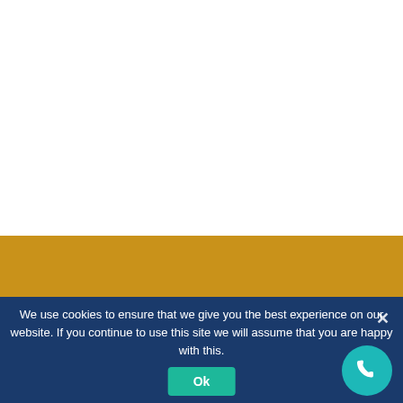[Figure (other): White background area (upper portion of page)]
[Figure (other): Gold/amber horizontal bar]
We use cookies to ensure that we give you the best experience on our website. If you continue to use this site we will assume that you are happy with this.
Ok
[Figure (other): Teal circular phone call button with phone icon in bottom right corner]